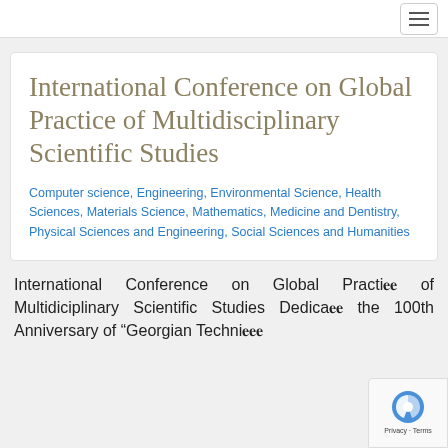International Conference on Global Practice of Multidisciplinary Scientific Studies
Computer science, Engineering, Environmental Science, Health Sciences, Materials Science, Mathematics, Medicine and Dentistry, Physical Sciences and Engineering, Social Sciences and Humanities
International Conference on Global Practice of Multidiciplinary Scientific Studies Dedicated the 100th Anniversary of "Georgian Technical